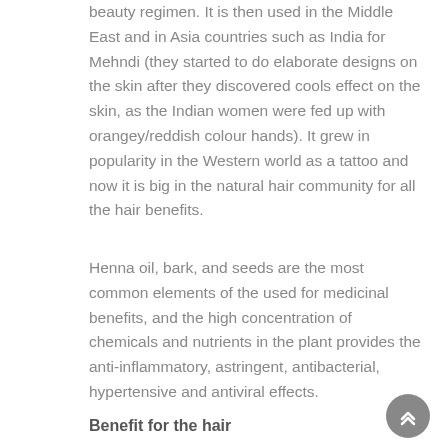beauty regimen. It is then used in the Middle East and in Asia countries such as India for Mehndi (they started to do elaborate designs on the skin after they discovered cools effect on the skin, as the Indian women were fed up with orangey/reddish colour hands). It grew in popularity in the Western world as a tattoo and now it is big in the natural hair community for all the hair benefits.
Henna oil, bark, and seeds are the most common elements of the used for medicinal benefits, and the high concentration of chemicals and nutrients in the plant provides the anti-inflammatory, astringent, antibacterial, hypertensive and antiviral effects.
Benefit for the hair